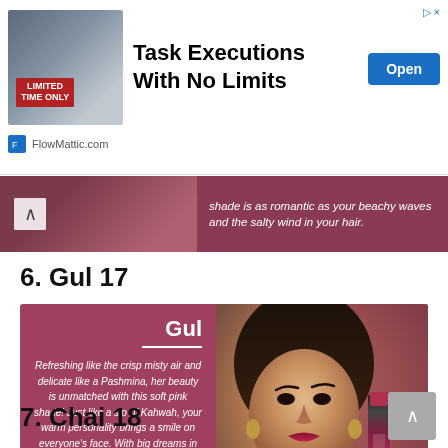[Figure (infographic): Advertisement banner: 'Task Executions With No Limits' by FlowMattic.com with an 'Open' button and a 'Limited Time Only' badge on a photo of a businessperson.]
[Figure (photo): Previous section partial image strip showing a reddish-pink background, with text: 'shade is as romantic as your beachy waves and the salty wind in your hair.']
6. Gul 17
[Figure (infographic): Nykaa Gul lipstick product card: left side dark pink/mauve background with title 'Gul' and italic description text, right side shows a woman wearing lipstick with a Nykaa liquid lipstick bottle.]
Refreshing like the crisp misty air and delicate like a Pashmina, her beauty is unmatched with this soft pink shade! Just like a sip of Kahwah, your warm personality brings a smile on everyone's face. With big dreams in your sparkling eyes and will to conquer the world with charm, you are a force to reckon with.
7. Chai 18